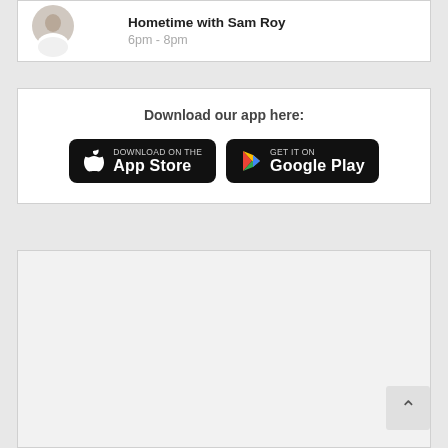Hometime with Sam Roy
6pm - 8pm
Download our app here:
[Figure (other): App Store download button (black rounded rectangle with Apple logo, text 'Download on the App Store')]
[Figure (other): Google Play download button (black rounded rectangle with Play Store logo, text 'GET IT ON Google Play')]
[Figure (other): Large light grey empty content box / advertisement area]